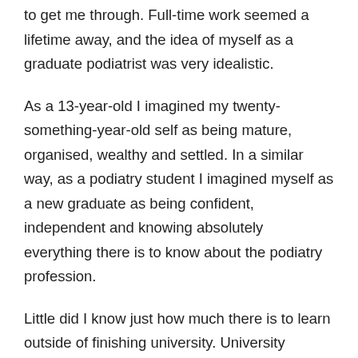to get me through. Full-time work seemed a lifetime away, and the idea of myself as a graduate podiatrist was very idealistic.
As a 13-year-old I imagined my twenty-something-year-old self as being mature, organised, wealthy and settled. In a similar way, as a podiatry student I imagined myself as a new graduate as being confident, independent and knowing absolutely everything there is to know about the podiatry profession.
Little did I know just how much there is to learn outside of finishing university. University teaches so